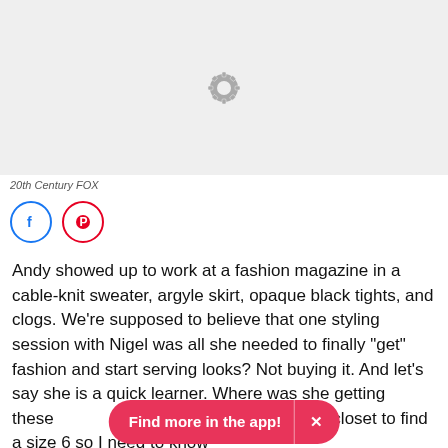[Figure (photo): Gray placeholder image with a loading spinner icon in the center]
20th Century FOX
[Figure (other): Social share buttons: Facebook (blue circle) and Pinterest (red circle)]
Andy showed up to work at a fashion magazine in a cable-knit sweater, argyle skirt, opaque black tights, and clogs. We're supposed to believe that one styling session with Nigel was all she needed to finally "get" fashion and start serving looks? Not buying it. And let's say she is a quick learner. Where was she getting these [Find more in the app!] [X] ggling in the fashion closet to find a size 6 so I need to know